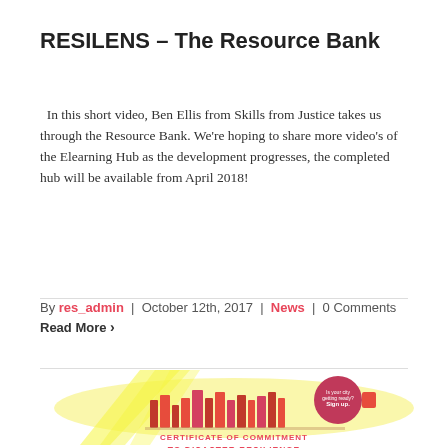RESILENS – The Resource Bank
In this short video, Ben Ellis from Skills from Justice takes us through the Resource Bank. We're hoping to share more video's of the Elearning Hub as the development progresses, the completed hub will be available from April 2018!
By res_admin | October 12th, 2017 | News | 0 Comments
Read More >
[Figure (illustration): Illustrated city skyline banner with yellow light beams radiating outward, colorful buildings in pink and red, and a pink circular badge reading 'Is your city getting ready? Sign up.' Below the illustration is text reading 'CERTIFICATE OF COMMITMENT TO DISASTER RESILIENCE' in pink/red letters.]